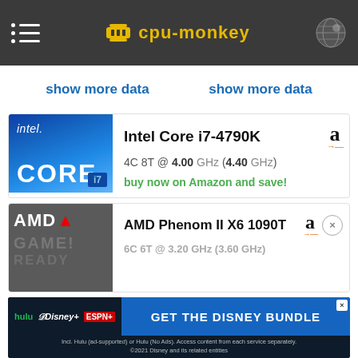cpu-monkey
show more data   show more data
[Figure (logo): Intel Core i7 logo - blue gradient with CORE i7 text]
Intel Core i7-4790K
4C 8T @ 4.00 GHz (4.40 GHz)
buy now on Amazon and save!
[Figure (logo): AMD logo on dark grey background with GAME! READY watermark text]
AMD Phenom II X6 1090T
6C 6T @ 3.20 GHz (3.60 GHz)
[Figure (other): Disney Bundle advertisement - hulu Disney+ ESPN+ GET THE DISNEY BUNDLE]